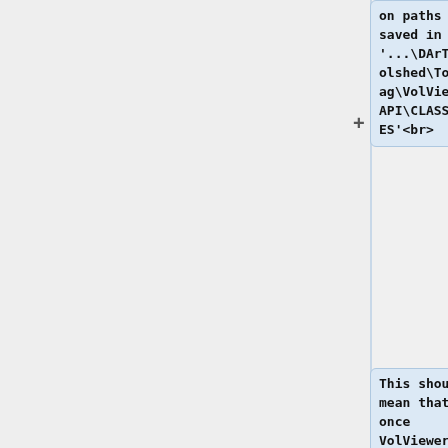on paths are saved in '...\DArT_Toolshed\ToolBag\VolViewerAPI\CLASSFILES'<br>
This should mean that once VolViewer is installed on a computer - the system will remember where to find everything without having to